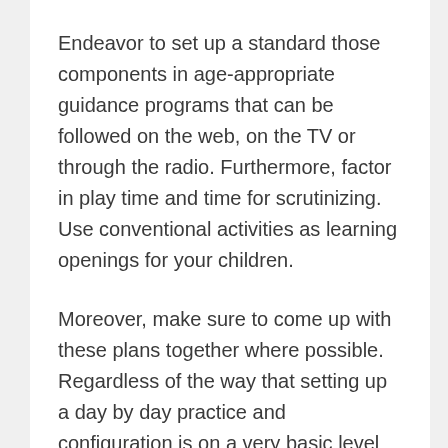Endeavor to set up a standard those components in age-appropriate guidance programs that can be followed on the web, on the TV or through the radio. Furthermore, factor in play time and time for scrutinizing. Use conventional activities as learning openings for your children.
Moreover, make sure to come up with these plans together where possible. Regardless of the way that setting up a day by day practice and configuration is on a very basic level critical for adolescents and understudies; in these events you may see your children need some level of flexibility. Change around your activities.
If your adolescent is giving off an impression of being touchy and instigated when you're endeavoring to follow...